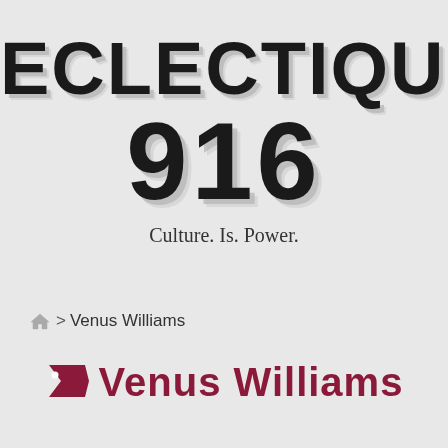ECLECTIQUE 916
Culture. Is. Power.
🏠 > Venus Williams
Venus Williams